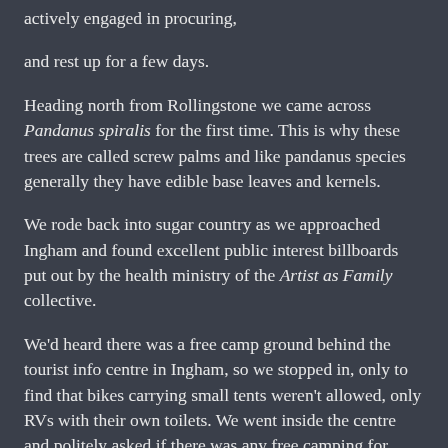actively engaged in procuring,
and rest up for a few days.
Heading north from Rollingstone we came across Pandanus spiralis for the first time. This is why these trees are called screw palms and like pandanus species generally they have edible base leaves and kernels.
We rode back into sugar country as we approached Ingham and found excellent public interest billboards put out by the health ministry of the Artist as Family collective.
We'd heard there was a free camp ground behind the tourist info centre in Ingham, so we stopped in, only to find that bikes carrying small tents weren't allowed, only RVs with their own toilets. We went inside the centre and politely asked if there was any free camping for non-polluters. Zero, like the rest of us, wasn't impressed with their answer.
As it happens it was Woody and Patrick's birthday so we